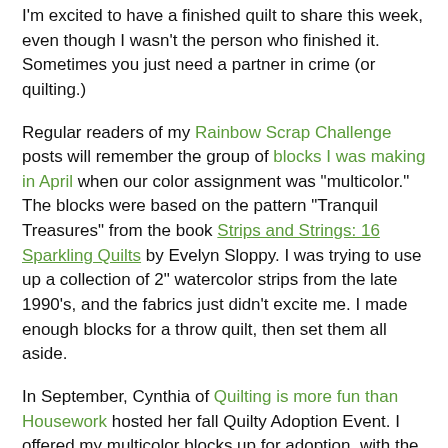I'm excited to have a finished quilt to share this week, even though I wasn't the person who finished it. Sometimes you just need a partner in crime (or quilting.)
Regular readers of my Rainbow Scrap Challenge posts will remember the group of blocks I was making in April when our color assignment was "multicolor." The blocks were based on the pattern "Tranquil Treasures" from the book Strips and Strings: 16 Sparkling Quilts by Evelyn Sloppy. I was trying to use up a collection of 2" watercolor strips from the late 1990's, and the fabrics just didn't excite me. I made enough blocks for a throw quilt, then set them all aside.
In September, Cynthia of Quilting is more fun than Housework hosted her fall Quilty Adoption Event. I offered my multicolor blocks up for adoption, with the preference that they be finished as part of a donation quilt. The winner was Chris in Shelby, NC. A couple days ago she sent me this photo of the finished quilt which will be donated by her quilt guild to the local women's shelter. I'm so pleased that she got it done so quickly and that it is going to a wonderful cause. Great job Chris!